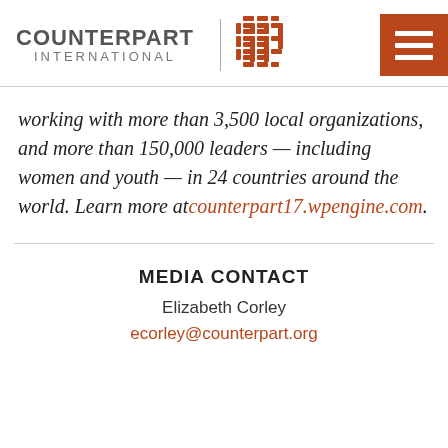[Figure (logo): Counterpart International logo with text and basket-weave graphic, plus hamburger menu button]
working with more than 3,500 local organizations, and more than 150,000 leaders — including women and youth — in 24 countries around the world. Learn more at counterpart17.wpengine.com.
MEDIA CONTACT
Elizabeth Corley
ecorley@counterpart.org